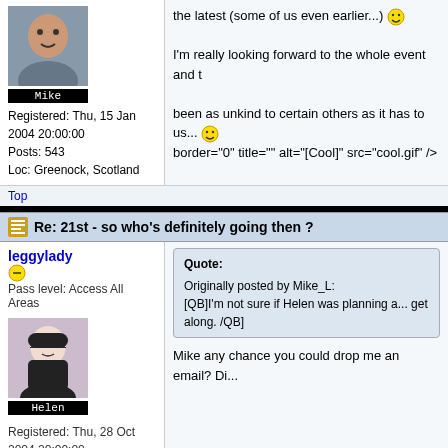the latest (some of us even earlier...) :) I'm really looking forward to the whole event and t... been as unkind to certain others as it has to us... border="0" title="" alt="[Cool]" src="cool.gif" />
Mike
Registered: Thu, 15 Jan 2004 20:00:00
Posts: 543
Loc: Greenock, Scotland
Top
Re: 21st - so who's definitely going then ?
leggylady
Pass level: Access All Areas
Helen
Registered: Thu, 28 Oct 2004 20:00:00
Posts: 2834
Loc: Edinburgh, UK
Quote:
Originally posted by Mike_L:
[QB]I'm not sure if Helen was planning a... get along. /QB]
Mike any chance you could drop me an email? Di...
Top
Re: 21st - so who's definitely going then ?
energypusher
Pass level: VIP
Registered: Wed, 22 Dec 2004
Quote:
Originally posted by leggylady: